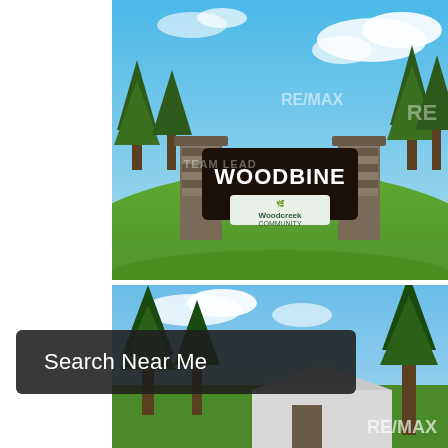[Figure (photo): Outdoor photo of Woodbine neighborhood entrance sign mounted on stone pillars, green grassy hill in background, blue sky with clouds, RE/MAX and Team Leader watermarks visible]
[Figure (photo): Outdoor photo showing tall pine trees and a house roofline under a blue sky, RE/MAX watermark in bottom right corner]
Search Near Me